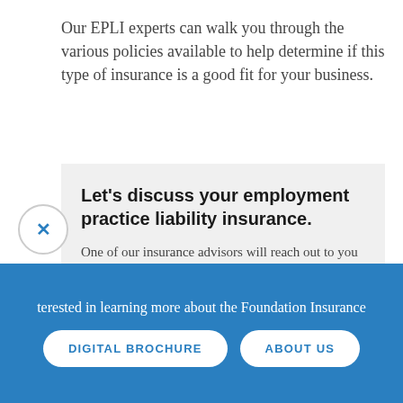Our EPLI experts can walk you through the various policies available to help determine if this type of insurance is a good fit for your business.
Let's discuss your employment practice liability insurance.
One of our insurance advisors will reach out to you to review your information and present you with the appropriate EPLI solution. There's no obligation.
terested in learning more about the Foundation Insurance
DIGITAL BROCHURE
ABOUT US